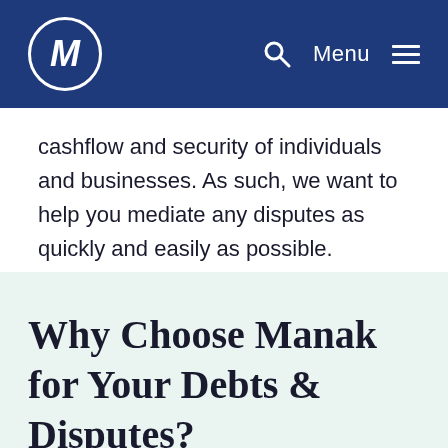M Menu
cashflow and security of individuals and businesses. As such, we want to help you mediate any disputes as quickly and easily as possible.
Why Choose Manak for Your Debts & Disputes?